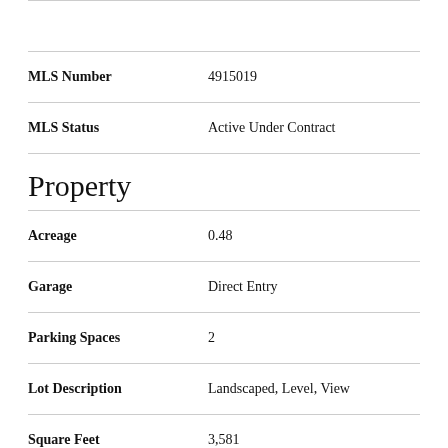| Field | Value |
| --- | --- |
| MLS Number | 4915019 |
| MLS Status | Active Under Contract |
Property
| Field | Value |
| --- | --- |
| Acreage | 0.48 |
| Garage | Direct Entry |
| Parking Spaces | 2 |
| Lot Description | Landscaped, Level, View |
| Square Feet | 3,581 |
| APX Fin AG Sqft | 3,581 |
| Road Frontage | 196 |
| Roads | Paved, Public |